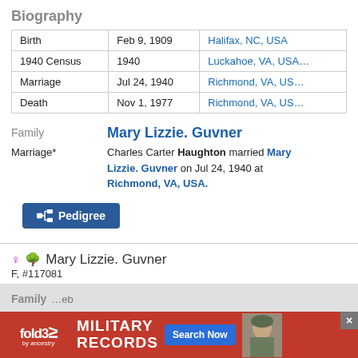Biography
|  | Date | Place |
| --- | --- | --- |
| Birth | Feb 9, 1909 | Halifax, NC, USA |
| 1940 Census | 1940 | Luckahoe, VA, USA |
| Marriage | Jul 24, 1940 | Richmond, VA, US |
| Death | Nov 1, 1977 | Richmond, VA, US |
Family   Mary Lizzie. Guvner
Marriage*   Charles Carter Haughton married Mary Lizzie. Guvner on Jul 24, 1940 at Richmond, VA, USA.
[Figure (other): Pedigree button]
♀ 🌳 Mary Lizzie. Guvner
F, #117081
Biography
|  | Date |
| --- | --- |
| Marriage | Jul 24, 1940 |
Family
[Figure (other): fold3 Military Records advertisement banner]